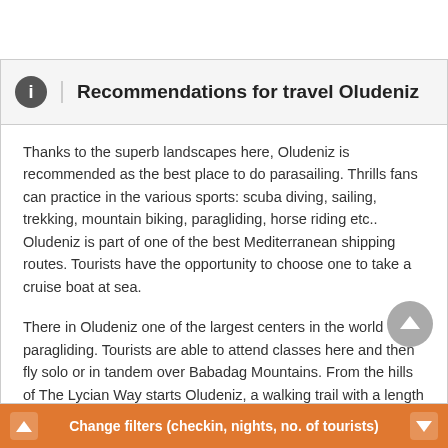Recommendations for travel Oludeniz
Thanks to the superb landscapes here, Oludeniz is recommended as the best place to do parasailing. Thrills fans can practice in the various sports: scuba diving, sailing, trekking, mountain biking, paragliding, horse riding etc.. Oludeniz is part of one of the best Mediterranean shipping routes. Tourists have the opportunity to choose one to take a cruise boat at sea.
There in Oludeniz one of the largest centers in the world paragliding. Tourists are able to attend classes here and then fly solo or in tandem over Babadag Mountains. From the hills of The Lycian Way starts Oludeniz, a walking trail with a length of 500 km, stretching from Fethiye up in Antalya. The Lycian Way is part of the top 10 best such routes in the world.
Change filters (checkin, nights, no. of tourists)